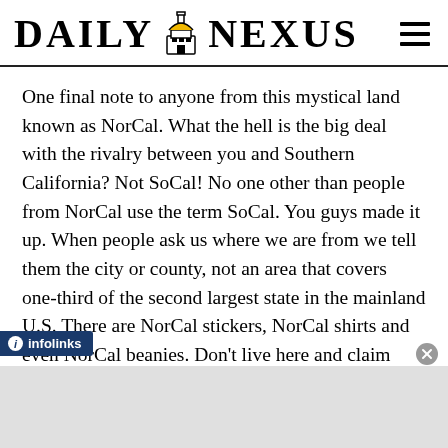DAILY NEXUS
One final note to anyone from this mystical land known as NorCal. What the hell is the big deal with the rivalry between you and Southern California? Not SoCal! No one other than people from NorCal use the term SoCal. You guys made it up. When people ask us where we are from we tell them the city or county, not an area that covers one-third of the second largest state in the mainland U.S. There are NorCal stickers, NorCal shirts and even NorCal beanies. Don't live here and claim there. If so-called NorCal is your thing then cool, go back. Try to get into